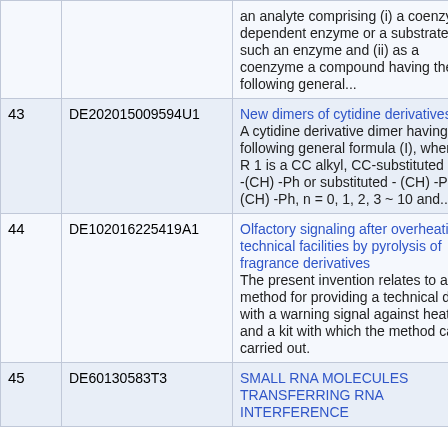| # | ID | Title / Description |
| --- | --- | --- |
|  |  | an analyte comprising (i) a coenzyme dependent enzyme or a substrate for such an enzyme and (ii) as a coenzyme a compound having the following general... |
| 43 | DE202015009594U1 | New dimers of cytidine derivatives
A cytidine derivative dimer having the following general formula (I), wherein: R 1 is a CC alkyl, CC-substituted alkyl, -(CH) -Ph or substituted - (CH) -Ph; in -(CH) -Ph, n = 0, 1, 2, 3 ~ 10 and... |
| 44 | DE102016225419A1 | Olfactory signaling after overheating in technical facilities by pyrolysis of fragrance derivatives
The present invention relates to a method for providing a technical device with a warning signal against heating and a kit with which the method can be carried out. |
| 45 | DE60130583T3 | SMALL RNA MOLECULES TRANSFERRING RNA INTERFERENCE |